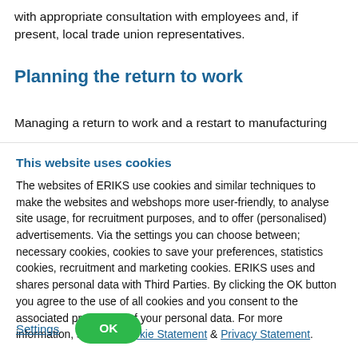with appropriate consultation with employees and, if present, local trade union representatives.
Planning the return to work
Managing a return to work and a restart to manufacturing
This website uses cookies
The websites of ERIKS use cookies and similar techniques to make the websites and webshops more user-friendly, to analyse site usage, for recruitment purposes, and to offer (personalised) advertisements. Via the settings you can choose between; necessary cookies, cookies to save your preferences, statistics cookies, recruitment and marketing cookies. ERIKS uses and shares personal data with Third Parties. By clicking the OK button you agree to the use of all cookies and you consent to the associated processing of your personal data. For more information, see our  Cookie Statement & Privacy Statement.
Settings
OK